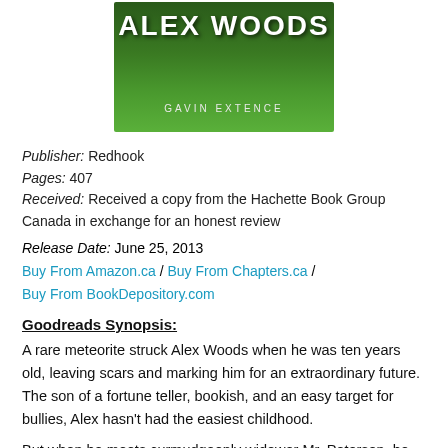[Figure (illustration): Book cover for 'The Universe Versus Alex Woods' by Gavin Extence, showing a green grassy background with white bold title text and author name in small caps.]
Publisher: Redhook
Pages: 407
Received: Received a copy from the Hachette Book Group Canada in exchange for an honest review
Release Date: June 25, 2013
Buy From Amazon.ca / Buy From Chapters.ca / Buy From BookDepository.com
Goodreads Synopsis:
A rare meteorite struck Alex Woods when he was ten years old, leaving scars and marking him for an extraordinary future. The son of a fortune teller, bookish, and an easy target for bullies, Alex hasn't had the easiest childhood.
But when he meets curmudgeonly widower Mr. Peterson, he finds an unlikely friend. Someone who teaches him that that